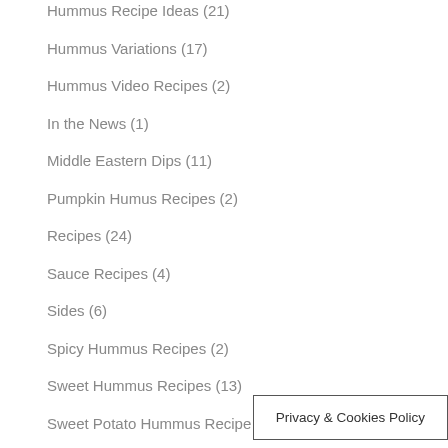Hummus Recipe Ideas (21)
Hummus Variations (17)
Hummus Video Recipes (2)
In the News (1)
Middle Eastern Dips (11)
Pumpkin Humus Recipes (2)
Recipes (24)
Sauce Recipes (4)
Sides (6)
Spicy Hummus Recipes (2)
Sweet Hummus Recipes (13)
Sweet Potato Hummus Recipe (1)
Tabouli (2)
Tahini Recipes (3)
Types of Hummus (1(
Privacy & Cookies Policy